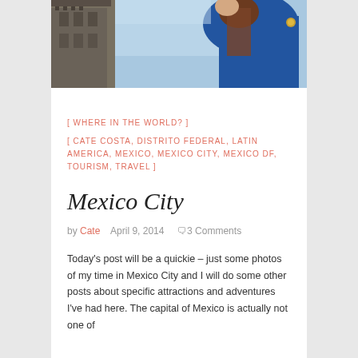[Figure (photo): Photo of a person in a blue coat with a building and sky in the background, taken in Mexico City]
[ WHERE IN THE WORLD? ]
[ CATE COSTA, DISTRITO FEDERAL, LATIN AMERICA, MEXICO, MEXICO CITY, MEXICO DF, TOURISM, TRAVEL ]
Mexico City
by Cate   April 9, 2014   3 Comments
Today's post will be a quickie – just some photos of my time in Mexico City and I will do some other posts about specific attractions and adventures I've had here. The capital of Mexico is actually not one of